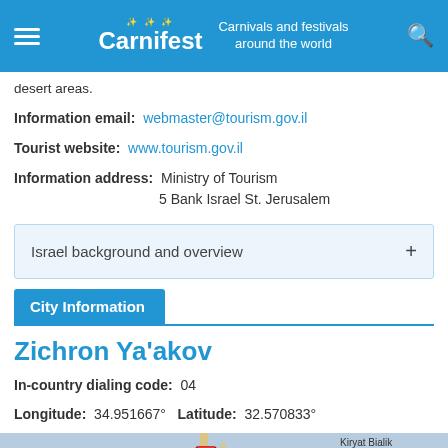Carnifest — Carnivals and festivals around the world
desert areas.
Information email: webmaster@tourism.gov.il
Tourist website: www.tourism.gov.il
Information address: Ministry of Tourism 5 Bank Israel St. Jerusalem
Israel background and overview
City Information
Zichron Ya'akov
In-country dialing code: 04
Longitude: 34.951667° Latitude: 32.570833°
[Figure (map): Map showing Haifa area, Israel, with surrounding towns Kiryat Bialik and Kiryat Ata labeled.]